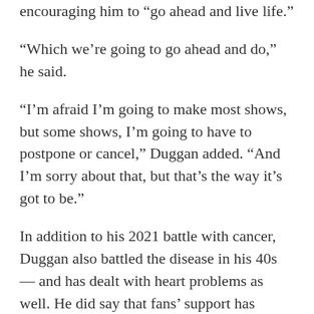results of the treatments, and added they're are encouraging him to “go ahead and live life.”
“Which we’re going to go ahead and do,” he said.
“I’m afraid I’m going to make most shows, but some shows, I’m going to have to postpone or cancel,” Duggan added. “And I’m sorry about that, but that’s the way it’s got to be.”
In addition to his 2021 battle with cancer, Duggan also battled the disease in his 40s — and has dealt with heart problems as well. He did say that fans’ support has helped him through it all — and he’s hoping for a similar outcome this year.
“You folks have helped me through an awful, awful lot over the years on numerous fronts,” he said. “And she is